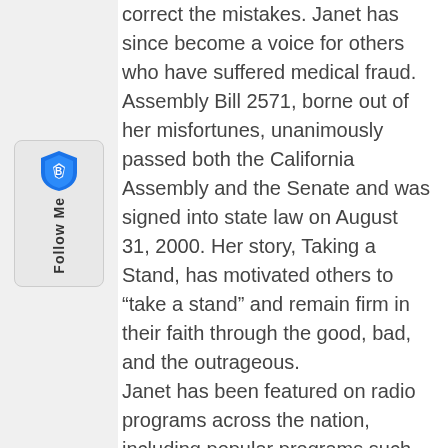[Figure (other): Follow Me sidebar widget with Brave browser shield logo in blue and white, and vertical text reading 'Follow Me']
correct the mistakes. Janet has since become a voice for others who have suffered medical fraud. Assembly Bill 2571, borne out of her misfortunes, unanimously passed both the California Assembly and the Senate and was signed into state law on August 31, 2000. Her story, Taking a Stand, has motivated others to “take a stand” and remain firm in their faith through the good, bad, and the outrageous.
Janet has been featured on radio programs across the nation, including popular programs such as Focus on the Family and Billy Graham’s Decision Today. Janet has appeared on television programs such as, Fox, CBS and ABC News, Aspiring Women, The Harvest Show, and Chuck and Jenny.